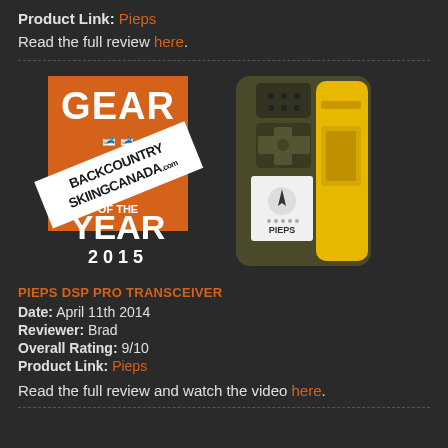Product Link: Pieps
Read the full review here.
[Figure (logo): Backcountry Skiing Canada Gear of the Year 2015 award badge — orange square with GEAR text, skiers silhouette, white diagonal banner reading BACKCOUNTRY SKIINGCANADA.com, and YEAR 2015 text]
[Figure (photo): Product photo of the Pieps DSP Pro avalanche transceiver — a dark olive/brown device with yellow side flap, speaker grille, directional buttons, compass display, and PIEPS label on white panel]
PIEPS DSP PRO TRANSCEIVER
Date: April 11th 2014
Reviewer: Brad
Overall Rating: 9/10
Product Link: Pieps
Read the full review and watch the video here.